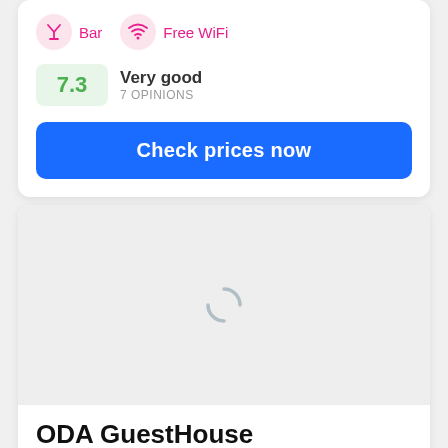Bar
Free WiFi
7.3 Very good 7 OPINIONS
Check prices now
[Figure (photo): Loading placeholder image area with a spinner icon]
ODA GuestHouse
Prizren, Kosovo